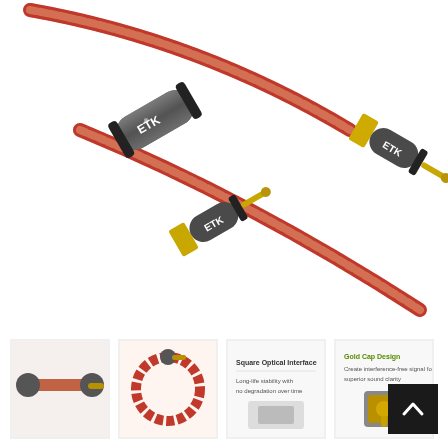[Figure (photo): ETK branded RCA audio cable with braided red/copper jacket, dark gunmetal connectors with gold accent rings, two connector ends visible showing gold-plated RCA plugs]
[Figure (photo): Thumbnail 1: ETK RCA cable close-up of connectors]
[Figure (photo): Thumbnail 2: ETK RCA cable full length coiled view]
[Figure (photo): Thumbnail 3: Technical diagram - Square Optical Interface label]
[Figure (photo): Thumbnail 4: Technical diagram - Gold Cap Design label]
[Figure (illustration): Back to top button - dark square with upward arrow]